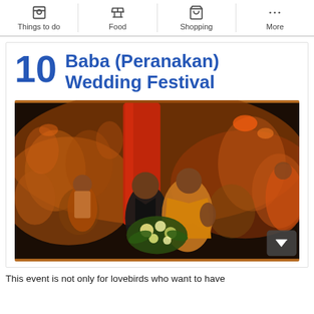Things to do | Food | Shopping | More
10 Baba (Peranakan) Wedding Festival
[Figure (photo): Photo of a Baba Peranakan wedding ceremony showing a couple seated, dressed in traditional attire with flowers, surrounded by people in orange clothing in a festive indoor setting.]
This event is not only for lovebirds who want to have